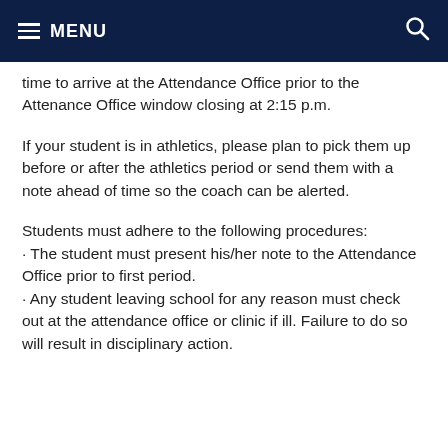MENU
time to arrive at the Attendance Office prior to the Attenance Office window closing at 2:15 p.m.
If your student is in athletics, please plan to pick them up before or after the athletics period or send them with a note ahead of time so the coach can be alerted.
Students must adhere to the following procedures:
· The student must present his/her note to the Attendance Office prior to first period.
· Any student leaving school for any reason must check out at the attendance office or clinic if ill. Failure to do so will result in disciplinary action.